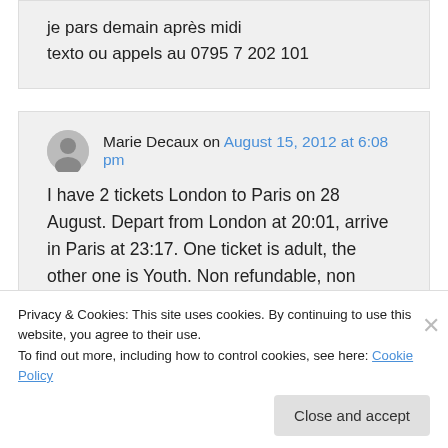je pars demain après midi
texto ou appels au 0795 7 202 101
Marie Decaux on August 15, 2012 at 6:08 pm
I have 2 tickets London to Paris on 28 August. Depart from London at 20:01, arrive in Paris at 23:17. One ticket is adult, the other one is Youth. Non refundable, non exchangeable. Price: 180 euros negotiable
Privacy & Cookies: This site uses cookies. By continuing to use this website, you agree to their use.
To find out more, including how to control cookies, see here: Cookie Policy